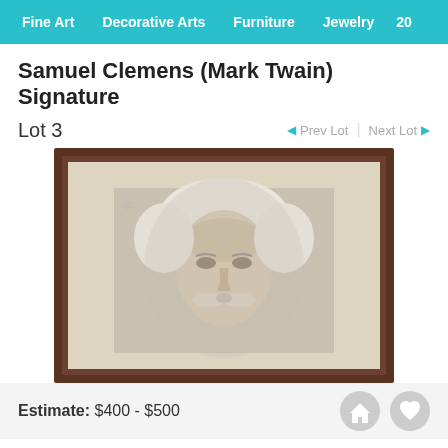Fine Art | Decorative Arts | Furniture | Jewelry | 20...
Samuel Clemens (Mark Twain) Signature
Lot 3
Prev Lot | Next Lot
[Figure (photo): Framed portrait photograph of Samuel Clemens (Mark Twain) in a dark wooden frame with cream mat, showing an elderly man with white hair and mustache]
Estimate: $400 - $500
Login for Price
Absentee vs Live bid ?